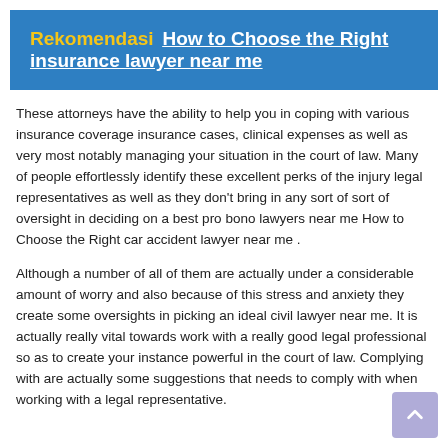Rekomendasi  How to Choose the Right insurance lawyer near me
These attorneys have the ability to help you in coping with various insurance coverage insurance cases, clinical expenses as well as very most notably managing your situation in the court of law. Many of people effortlessly identify these excellent perks of the injury legal representatives as well as they don't bring in any sort of sort of oversight in deciding on a best pro bono lawyers near me How to Choose the Right car accident lawyer near me .
Although a number of all of them are actually under a considerable amount of worry and also because of this stress and anxiety they create some oversights in picking an ideal civil lawyer near me. It is actually really vital towards work with a really good legal professional so as to create your instance powerful in the court of law. Complying with are actually some suggestions that needs to comply with when working with a legal representative.